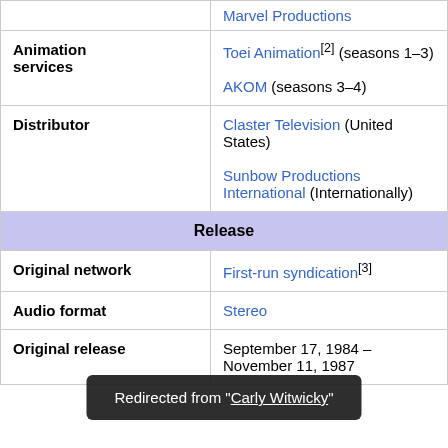|  | Marvel Productions |
| Animation services | Toei Animation[2] (seasons 1–3)
AKOM (seasons 3–4) |
| Distributor | Claster Television (United States)
Sunbow Productions International (Internationally) |
| Release |  |
| Original network | First-run syndication[3] |
| Audio format | Stereo |
| Original release | September 17, 1984 – November 11, 1987 |
Redirected from "Carly Witwicky"